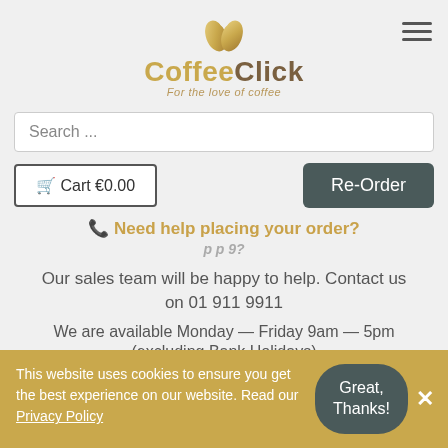[Figure (logo): CoffeeClick logo with golden coffee bean icon and tagline 'For the love of coffee']
Search ...
🛒 Cart €0.00
Re-Order
📞 Need help placing your order?
Our sales team will be happy to help. Contact us on 01 911 9911
We are available Monday — Friday 9am — 5pm
(excluding Bank Holidays)
The contact number above is for help placing an
This website uses cookies to ensure you get the best experience on our website. Read our Privacy Policy
Great, Thanks!